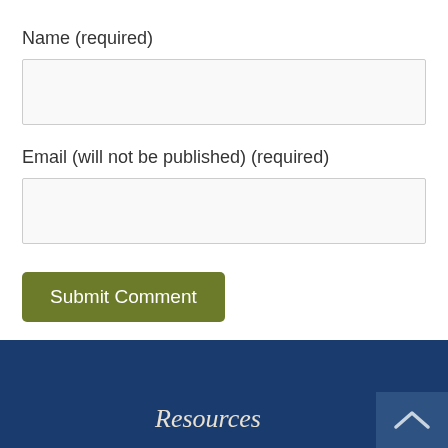Name (required)
Email (will not be published) (required)
Submit Comment
Resources